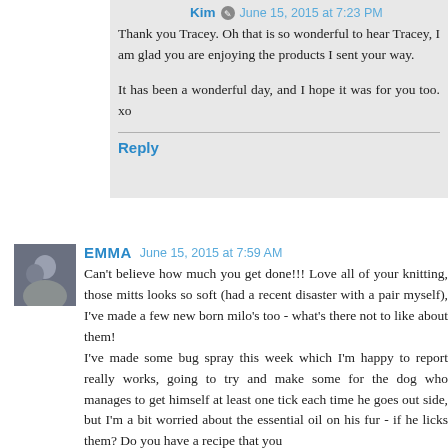Kim · June 15, 2015 at 7:23 PM
Thank you Tracey. Oh that is so wonderful to hear Tracey, I am glad you are enjoying the products I sent your way.

It has been a wonderful day, and I hope it was for you too. xo
Reply
EMMA  June 15, 2015 at 7:59 AM
Can't believe how much you get done!!! Love all of your knitting, those mitts looks so soft (had a recent disaster with a pair myself), I've made a few new born milo's too - what's there not to like about them! I've made some bug spray this week which I'm happy to report really works, going to try and make some for the dog who manages to get himself at least one tick each time he goes out side, but I'm a bit worried about the essential oil on his fur - if he licks them? Do you have a recipe that you